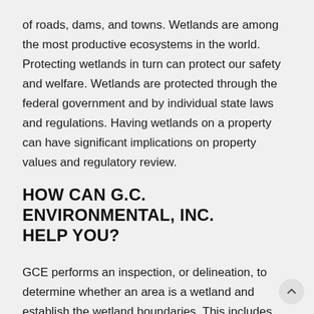of roads, dams, and towns. Wetlands are among the most productive ecosystems in the world. Protecting wetlands in turn can protect our safety and welfare. Wetlands are protected through the federal government and by individual state laws and regulations. Having wetlands on a property can have significant implications on property values and regulatory review.
HOW CAN G.C. ENVIRONMENTAL, INC. HELP YOU?
GCE performs an inspection, or delineation, to determine whether an area is a wetland and establish the wetland boundaries. This includes evaluating whether the proposed project site will be located within federal and/or state